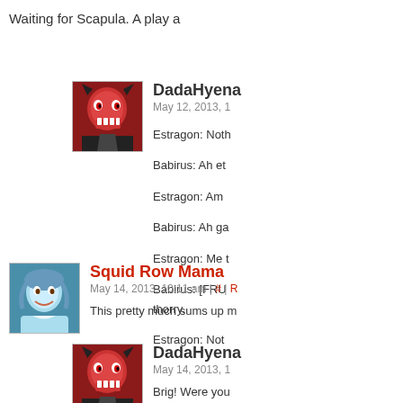Waiting for Scapula. A play a
DadaHyena
May 12, 2013, 1
Estragon: Noth
Babirus: Ah et
Estragon: Am
Babirus: Ah ga
Estragon: Me t
Babirus: [FRU thorry.
Estragon: Not
Squid Row Mama
May 14, 2013, 10:11 am | # | Re
This pretty much sums up m
DadaHyena
May 14, 2013, 1
Brig! Were you